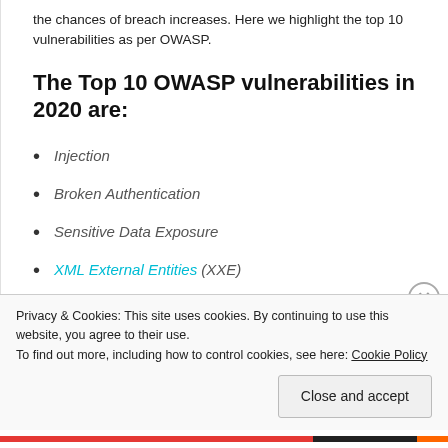the chances of breach increases. Here we highlight the top 10 vulnerabilities as per OWASP.
The Top 10 OWASP vulnerabilities in 2020 are:
Injection
Broken Authentication
Sensitive Data Exposure
XML External Entities (XXE)
Broken Access control
Security misconfigurations
Privacy & Cookies: This site uses cookies. By continuing to use this website, you agree to their use.
To find out more, including how to control cookies, see here: Cookie Policy
Close and accept